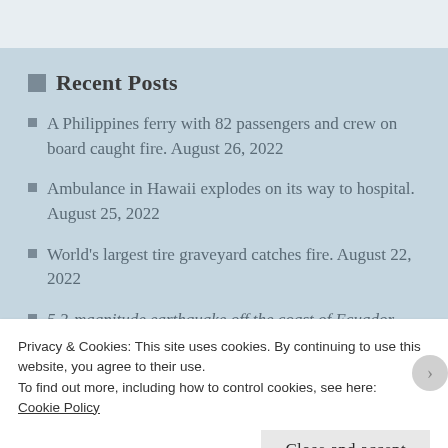Recent Posts
A Philippines ferry with 82 passengers and crew on board caught fire. August 26, 2022
Ambulance in Hawaii explodes on its way to hospital. August 25, 2022
World's largest tire graveyard catches fire. August 22, 2022
5.3-magnitude earthquake off the coast of Ecuador. August 21, 2022
Privacy & Cookies: This site uses cookies. By continuing to use this website, you agree to their use.
To find out more, including how to control cookies, see here:
Cookie Policy
Close and accept